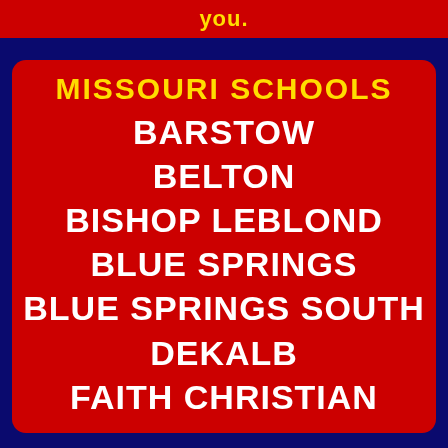you.
MISSOURI SCHOOLS
BARSTOW
BELTON
BISHOP LEBLOND
BLUE SPRINGS
BLUE SPRINGS SOUTH
DEKALB
FAITH CHRISTIAN